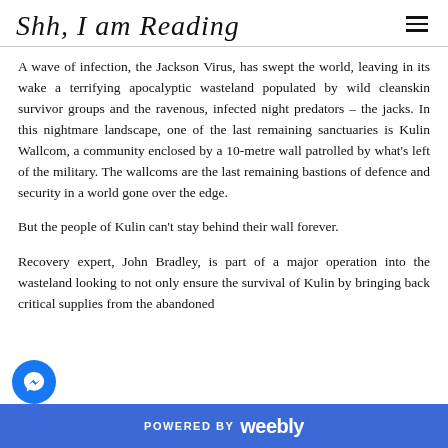Shh, I am Reading
A wave of infection, the Jackson Virus, has swept the world, leaving in its wake a terrifying apocalyptic wasteland populated by wild cleanskin survivor groups and the ravenous, infected night predators – the jacks. In this nightmare landscape, one of the last remaining sanctuaries is Kulin Wallcom, a community enclosed by a 10-metre wall patrolled by what's left of the military. The wallcoms are the last remaining bastions of defence and security in a world gone over the edge.
But the people of Kulin can't stay behind their wall forever.
Recovery expert, John Bradley, is part of a major operation into the wasteland looking to not only ensure the survival of Kulin by bringing back critical supplies from the abandoned
POWERED BY weebly